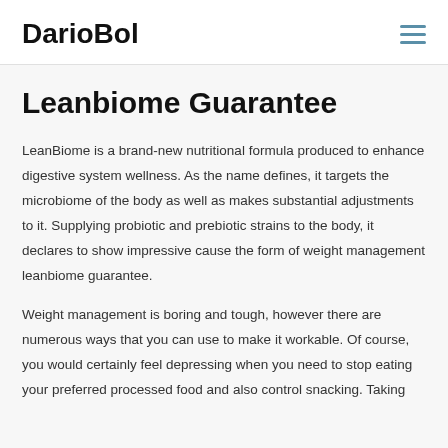DarioBol
Leanbiome Guarantee
LeanBiome is a brand-new nutritional formula produced to enhance digestive system wellness. As the name defines, it targets the microbiome of the body as well as makes substantial adjustments to it. Supplying probiotic and prebiotic strains to the body, it declares to show impressive cause the form of weight management leanbiome guarantee.
Weight management is boring and tough, however there are numerous ways that you can use to make it workable. Of course, you would certainly feel depressing when you need to stop eating your preferred processed food and also control snacking. Taking